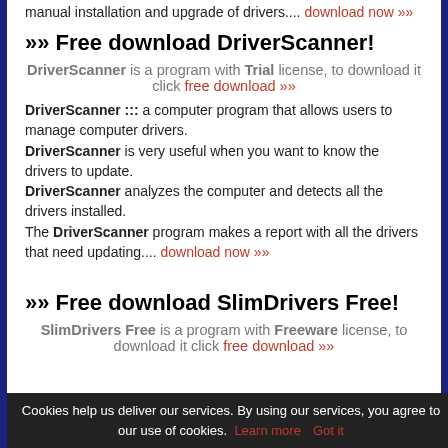manual installation and upgrade of drivers.... download now »»
»» Free download DriverScanner!
DriverScanner is a program with Trial license, to download it click free download »»
DriverScanner ::: a computer program that allows users to manage computer drivers. DriverScanner is very useful when you want to know the drivers to update. DriverScanner analyzes the computer and detects all the drivers installed. The DriverScanner program makes a report with all the drivers that need updating.... download now »»
»» Free download SlimDrivers Free!
SlimDrivers Free is a program with Freeware license, to download it click free download »»
Cookies help us deliver our services. By using our services, you agree to our use of cookies. Learn more  Got it